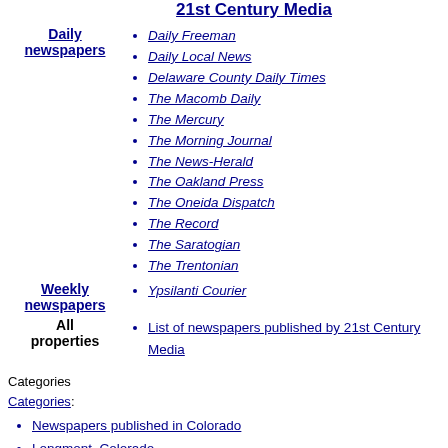21st Century Media
Daily Freeman
Daily Local News
Delaware County Daily Times
The Macomb Daily
The Mercury
The Morning Journal
The News-Herald
The Oakland Press
The Oneida Dispatch
The Record
The Saratogian
The Trentonian
Ypsilanti Courier
List of newspapers published by 21st Century Media
Categories
Categories:
Newspapers published in Colorado
Longmont, Colorado